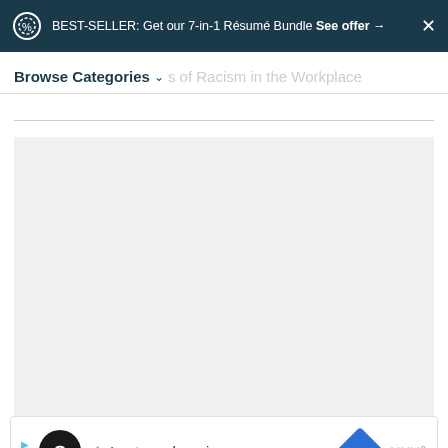BEST-SELLER: Get our 7-in-1 Résumé Bundle See offer →  ×
Browse Categories ∨  s of Racism in the Workplace
[Figure (screenshot): Gray placeholder content area box]
[Figure (screenshot): Ad banner showing In-store shopping with loop icon, checkmark, navigation icon, and brand logo]